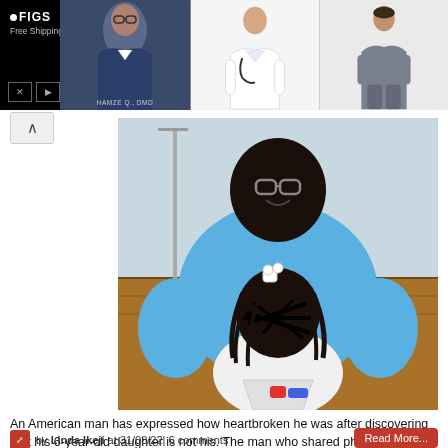[Figure (photo): FIGS advertisement banner showing a medical professional in scrubs, with product images of doctor in white coat and woman in grey scrubs. Text: FIGS, Free Shipping on Orders $50+, HAMZE Q., DMD]
[Figure (photo): Photo of a large American man in a blue polo shirt sitting with a child whose face is scribbled out for privacy, in what appears to be a medical or waiting room setting with wood panel walls.]
An American man has expressed how heartbroken he was after discovering that his 6-year-old daughter is not his. The man who shared photo of the DNA result, revealed that he ...
by Linda Ikeji at 31/08/22| 6 comments
Read More...